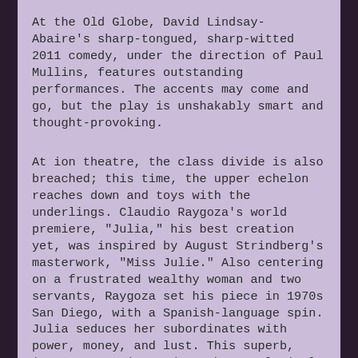At the Old Globe, David Lindsay-Abaire's sharp-tongued, sharp-witted 2011 comedy, under the direction of Paul Mullins, features outstanding performances. The accents may come and go, but the play is unshakably smart and thought-provoking.
At ion theatre, the class divide is also breached; this time, the upper echelon reaches down and toys with the underlings. Claudio Raygoza's world premiere, "Julia," his best creation yet, was inspired by August Strindberg's masterwork, "Miss Julie." Also centering on a frustrated wealthy woman and two servants, Raygoza set his piece in 1970s San Diego, with a Spanish-language spin. Julia seduces her subordinates with power, money, and lust. This superb, intense, 90-minute drama boasts lyrical language and meticulous direction, also by Raygoza, with a marvelous cast and design.